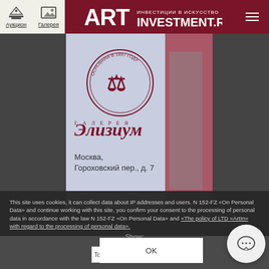Аукцион  Галерея  ART INVESTMENT.RU
[Figure (photo): Art gallery catalog cover showing a circular seal/emblem reading 'Основана в 1997 году', stylized Cyrillic text 'Элизиум', and address 'Москва, Гороховский пер., д. 7' on a light blue-grey background with red decorative border elements on the right.]
This site uses cookies, it can collect data about IP addresses and users. N 152-FZ «On Personal Data» and continue working with this site, you confirm your consent to the processing of personal data in accordance with the law N 152-FZ «On Personal Data» and «The policy of LTD «ArtIn» with regard to the processing of personal data».
Show:
OK